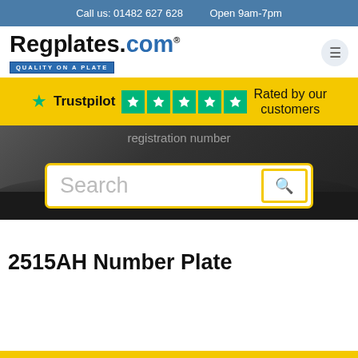Call us: 01482 627 628   Open 9am-7pm
[Figure (logo): Regplates.com logo with tagline 'QUALITY ON A PLATE']
Trustpilot ★★★★★ Rated by our customers
[Figure (screenshot): Hero banner with dark car background and partial text 'registration number' with search box]
2515AH Number Plate